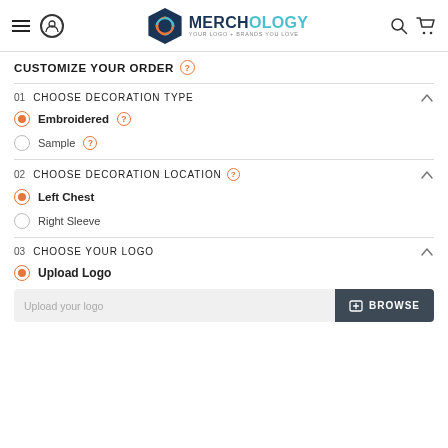Merchology — Your Logo + Brands You Love (navigation header)
CUSTOMIZE YOUR ORDER
01   CHOOSE DECORATION TYPE
Embroidered (selected)
Sample
02   CHOOSE DECORATION LOCATION
Left Chest (selected)
Right Sleeve
03   CHOOSE YOUR LOGO
Upload Logo (selected)
Upload your logo  BROWSE